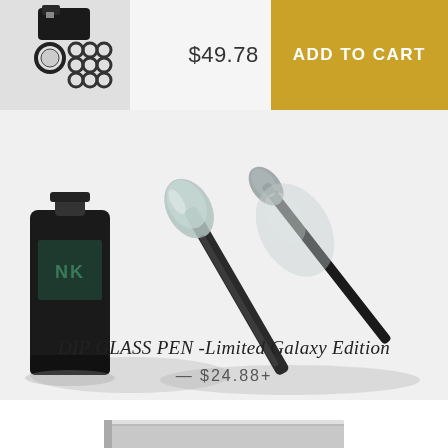$49.78
ADD TO CART
[Figure (photo): Product thumbnail showing a camera flash/ring light accessory kit on a light gray background]
[Figure (photo): Close-up photo of an ink bottle labeled 'INK' and a dip glass pen with a decorative metallic nib, shot on a white background with dramatic shadows]
DIP GLASS PEN -Limited Galaxy Edition
— $24.88+
[Figure (photo): Partial view of a rectangular product (appears to be a box or flat item) visible at the bottom edge of the page]